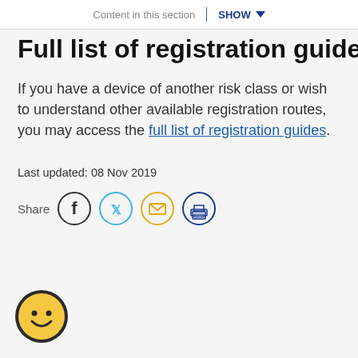Content in this section | SHOW
Full list of registration guides
If you have a device of another risk class or wish to understand other available registration routes, you may access the full list of registration guides.
Last updated: 08 Nov 2019
[Figure (infographic): Share icons row: Facebook, Twitter, Email, Print]
[Figure (illustration): Smiley face feedback button (yellow circle with smiley face, dark border)]